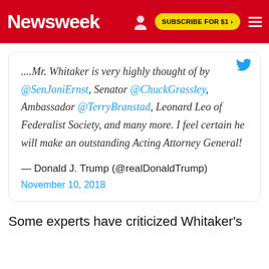Newsweek | SUBSCRIBE FOR $1 >
....Mr. Whitaker is very highly thought of by @SenJoniErnst, Senator @ChuckGrassley, Ambassador @TerryBranstad, Leonard Leo of Federalist Society, and many more. I feel certain he will make an outstanding Acting Attorney General!
— Donald J. Trump (@realDonaldTrump)
November 10, 2018
Some experts have criticized Whitaker's